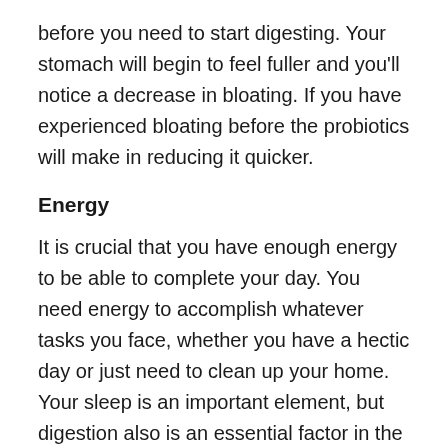before you need to start digesting. Your stomach will begin to feel fuller and you'll notice a decrease in bloating. If you have experienced bloating before the probiotics will make in reducing it quicker.
Energy
It is crucial that you have enough energy to be able to complete your day. You need energy to accomplish whatever tasks you face, whether you have a hectic day or just need to clean up your home. Your sleep is an important element, but digestion also is an essential factor in the amount you'll have energy throughout the day. If your stomach is in a state of upset or is not in a state of rest and your brain, as well as the rest of your body will feel